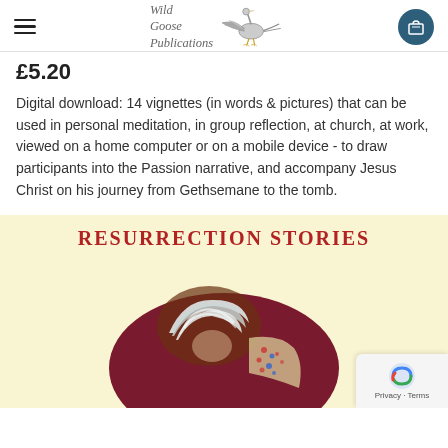Wild Goose Publications
£5.20
Digital download: 14 vignettes (in words & pictures) that can be used in personal meditation, in group reflection, at church, at work, viewed on a home computer or on a mobile device - to draw participants into the Passion narrative, and accompany Jesus Christ on his journey from Gethsemane to the tomb.
[Figure (illustration): Book cover for 'Resurrection Stories' showing a painting of a figure in head covering on a cream/yellow background with red title text.]